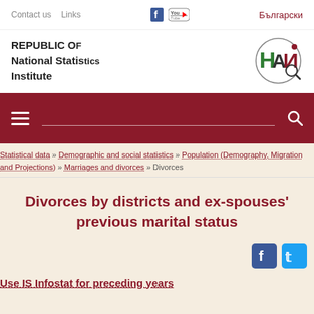Contact us   Links   |   f   You [YouTube]   |   Български
[Figure (logo): REPUBLIC OF Bulgaria National Statistics Institute logo with NSI emblem in red and green]
[Figure (other): Dark red navigation menu bar with hamburger menu, search bar, and search icon]
Statistical data » Demographic and social statistics » Population (Demography, Migration and Projections) » Marriages and divorces » Divorces
Divorces by districts and ex-spouses' previous marital status
[Figure (other): Facebook and Twitter share buttons]
Use IS Infostat for preceding years